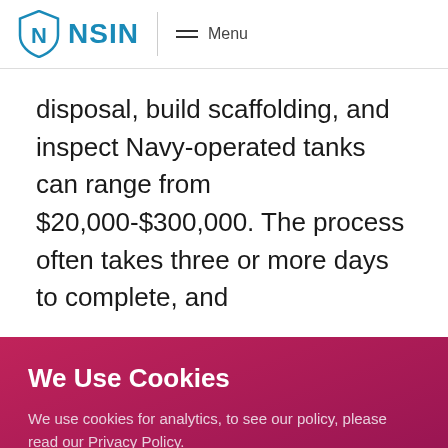NSIN | Menu
disposal, build scaffolding, and inspect Navy-operated tanks can range from $20,000-$300,000. The process often takes three or more days to complete, and
We Use Cookies
We use cookies for analytics, to see our policy, please read our Privacy Policy.
ACCEPT & CONTINUE